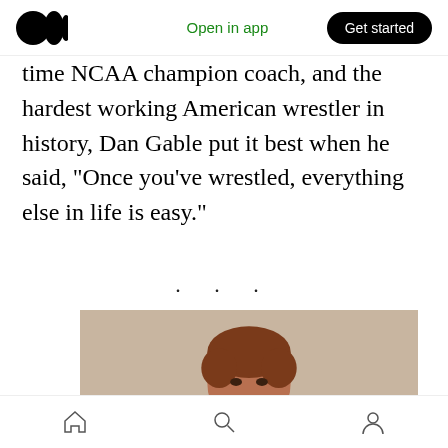Medium logo | Open in app | Get started
time NCAA champion coach, and the hardest working American wrestler in history, Dan Gable put it best when he said, “Once you’ve wrestled, everything else in life is easy.”
· · ·
[Figure (photo): Portrait photo of a young man with reddish-brown hair and a mustache, wearing a dark shirt, against a neutral gray background]
Home | Search | Profile navigation icons